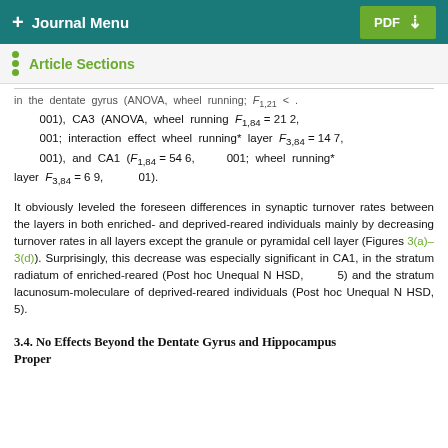+ Journal Menu | PDF ↓
Article Sections
in the dentate gyrus (ANOVA, wheel running; F1,21 < .001), CA3 (ANOVA, wheel running F1,84 = 21 2, .001; interaction effect wheel running* layer F3,84 = 14 7, .001), and CA1 (F1,84 = 54 6, .001; wheel running* layer F3,84 = 6 9, .01).
It obviously leveled the foreseen differences in synaptic turnover rates between the layers in both enriched- and deprived-reared individuals mainly by decreasing turnover rates in all layers except the granule or pyramidal cell layer (Figures 3(a)–3(d)). Surprisingly, this decrease was especially significant in CA1, in the stratum radiatum of enriched-reared (Post hoc Unequal N HSD, 5) and the stratum lacunosum-moleculare of deprived-reared individuals (Post hoc Unequal N HSD, 5).
3.4. No Effects Beyond the Dentate Gyrus and Hippocampus Proper